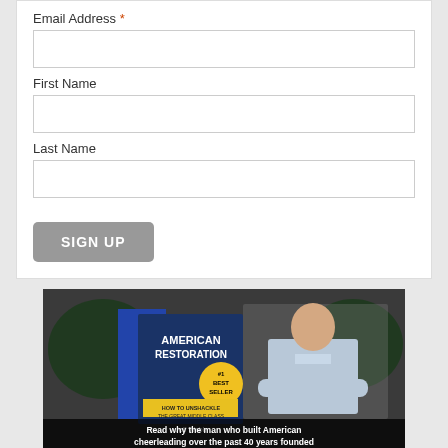Email Address *
First Name
Last Name
SIGN UP
[Figure (photo): Book cover of 'American Restoration' by Jeff Webb with #1 Best Seller badge, and a man in a light blue shirt standing with arms crossed]
Read why the man who built American cheerleading over the past 40 years founded Middle Class Warriors and how he plans to